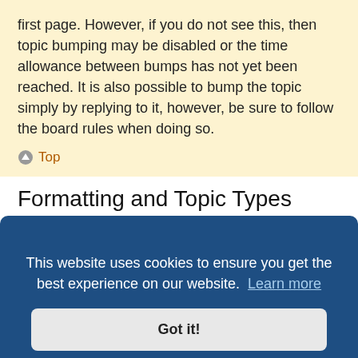first page. However, if you do not see this, then topic bumping may be disabled or the time allowance between bumps has not yet been reached. It is also possible to bump the topic simply by replying to it, however, be sure to follow the board rules when doing so.
Top
Formatting and Topic Types
What is BBCode?
BBCode is a special implementation of HTML, offering
This website uses cookies to ensure you get the best experience on our website. Learn more
Got it!
can be accessed from the posting page.